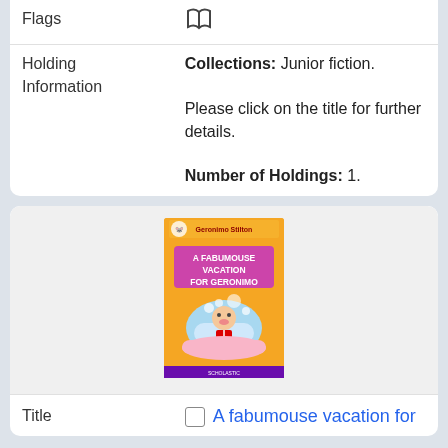| Field | Value |
| --- | --- |
| Flags | 🕮 |
| Holding Information | Collections: Junior fiction.
Please click on the title for further details.
Number of Holdings: 1. |
[Figure (illustration): Book cover of 'A Fabumouse Vacation for Geronimo' by Geronimo Stilton, with yellow background, showing a cartoon mouse in a bathtub]
| Field | Value |
| --- | --- |
| Title | A fabumouse vacation for |